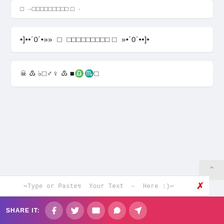□ ··□□□□□□□□□ □
•]••´0´•»» □ □□□□□□□□□ □ »»•´0´••]•
☠ ♓ ♍□♐ ♓ ■♎♏□
↪Type or Paste↯ Your Text ← Here :)↩
SHARE IT: